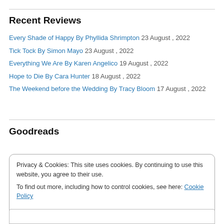Recent Reviews
Every Shade of Happy By Phyllida Shrimpton 23 August , 2022
Tick Tock By Simon Mayo 23 August , 2022
Everything We Are By Karen Angelico 19 August , 2022
Hope to Die By Cara Hunter 18 August , 2022
The Weekend before the Wedding By Tracy Bloom 17 August , 2022
Goodreads
Privacy & Cookies: This site uses cookies. By continuing to use this website, you agree to their use. To find out more, including how to control cookies, see here: Cookie Policy
Close and accept